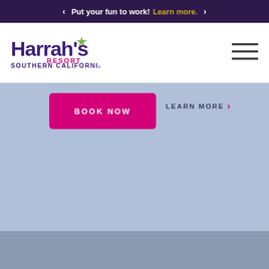Put your fun to work! Learn more.
[Figure (logo): Harrah's Resort Southern California logo - owned by the Rincon Tribe]
[Figure (other): Hamburger menu icon (three horizontal lines)]
[Figure (screenshot): Light blue hero image area]
BOOK NOW
LEARN MORE